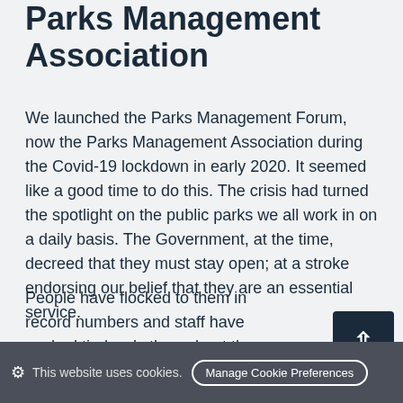Parks Management Association
We launched the Parks Management Forum, now the Parks Management Association during the Covid-19 lockdown in early 2020. It seemed like a good time to do this. The crisis had turned the spotlight on the public parks we all work in on a daily basis. The Government, at the time, decreed that they must stay open; at a stroke endorsing our belief that they are an essential service.
People have flocked to them in record numbers and staff have worked tirelessly throughout the crisis to keep parks clean and safe and beautiful despite the pressures that mounted daily – large numbers of
This website uses cookies. Manage Cookie Preferences